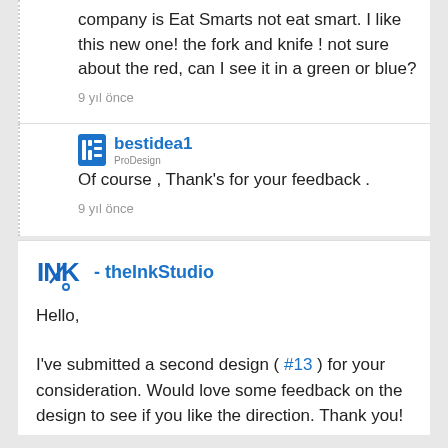company is Eat Smarts not eat smart. I like this new one! the fork and knife ! not sure about the red, can I see it in a green or blue?
9 yıl önce
bestidea1
Of course , Thank's for your feedback .
9 yıl önce
theInkStudio
Hello,
I've submitted a second design ( #13 ) for your consideration. Would love some feedback on the design to see if you like the direction. Thank you!